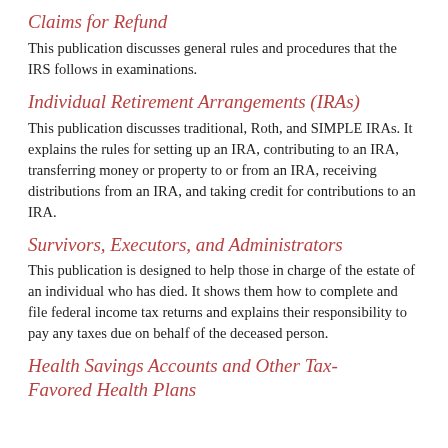Claims for Refund
This publication discusses general rules and procedures that the IRS follows in examinations.
Individual Retirement Arrangements (IRAs)
This publication discusses traditional, Roth, and SIMPLE IRAs. It explains the rules for setting up an IRA, contributing to an IRA, transferring money or property to or from an IRA, receiving distributions from an IRA, and taking credit for contributions to an IRA.
Survivors, Executors, and Administrators
This publication is designed to help those in charge of the estate of an individual who has died. It shows them how to complete and file federal income tax returns and explains their responsibility to pay any taxes due on behalf of the deceased person.
Health Savings Accounts and Other Tax-Favored Health Plans